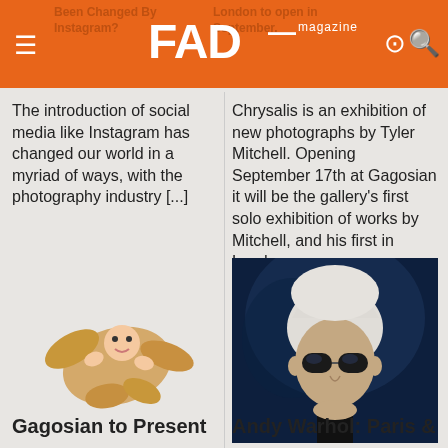FAD magazine
Been Changed By Instagram?
London to open in September.
The introduction of social media like Instagram has changed our world in a myriad of ways, with the photography industry [...]
Chrysalis is an exhibition of new photographs by Tyler Mitchell. Opening September 17th at Gagosian it will be the gallery’s first solo exhibition of works by Mitchell, and his first in London.
[Figure (photo): A small sculpted or natural figure resembling a baby or creature nestled in a ginger root, on a light background]
[Figure (photo): Portrait of Andy Warhol wearing dark sunglasses, white/silver hair, against a dark blue background]
Gagosian to Present
Andy Warhol: Paris &